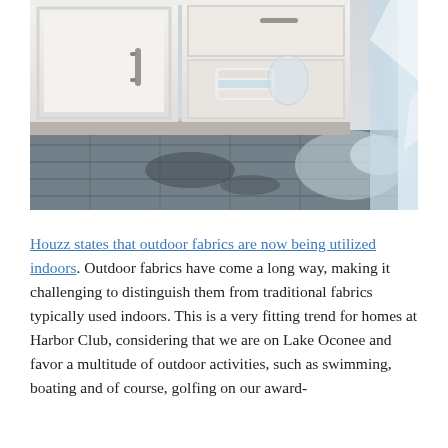[Figure (photo): Interior photo showing white shaker-style kitchen cabinets with brushed nickel hardware, an open lower cabinet/drawer with folded white towels inside, and a reflective dark gray marble tile floor. The angle is low and close-up, looking along the base of the cabinetry toward a bright window at the right.]
Houzz states that outdoor fabrics are now being utilized indoors. Outdoor fabrics have come a long way, making it challenging to distinguish them from traditional fabrics typically used indoors. This is a very fitting trend for homes at Harbor Club, considering that we are on Lake Oconee and favor a multitude of outdoor activities, such as swimming, boating and of course, golfing on our award-